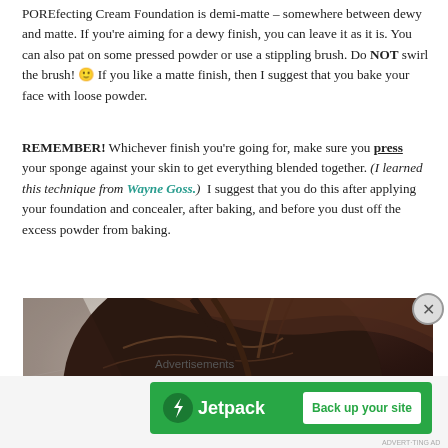POREfecting Cream Foundation is demi-matte – somewhere between dewy and matte. If you're aiming for a dewy finish, you can leave it as it is. You can also pat on some pressed powder or use a stippling brush. Do NOT swirl the brush! 🙂 If you like a matte finish, then I suggest that you bake your face with loose powder.
REMEMBER! Whichever finish you're going for, make sure you press your sponge against your skin to get everything blended together. (I learned this technique from Wayne Goss.)  I suggest that you do this after applying your foundation and concealer, after baking, and before you dust off the excess powder from baking.
[Figure (photo): Close-up photo of a person's forehead and dark hair against a light background]
Advertisements
[Figure (other): Jetpack advertisement banner with green background showing Jetpack logo and 'Back up your site' button]